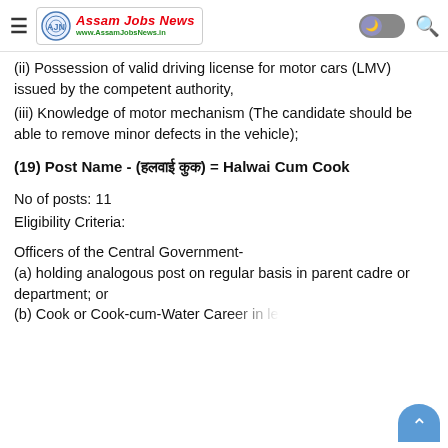Assam Jobs News — www.AssamJobsNews.in
(ii) Possession of valid driving license for motor cars (LMV) issued by the competent authority,
(iii) Knowledge of motor mechanism (The candidate should be able to remove minor defects in the vehicle);
(19) Post Name - (हलवाई कुक) = Halwai Cum Cook
No of posts: 11
Eligibility Criteria:
Officers of the Central Government-
(a) holding analogous post on regular basis in parent cadre or department; or
(b) Cook or Cook-cum-Water Career in le...